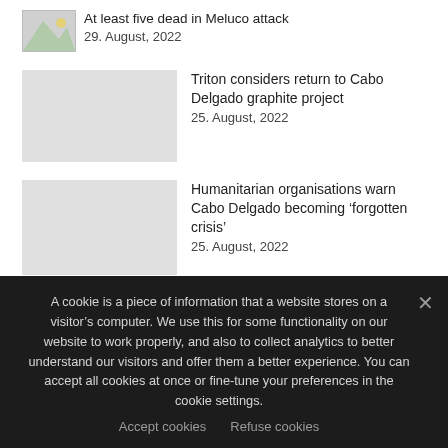[Figure (photo): Thumbnail image for article about Meluco attack]
At least five dead in Meluco attack
29. August, 2022
[Figure (photo): Thumbnail image for Triton Cabo Delgado graphite project article]
Triton considers return to Cabo Delgado graphite project
25. August, 2022
[Figure (photo): Thumbnail image for humanitarian organisations article]
Humanitarian organisations warn Cabo Delgado becoming ‘forgotten crisis’
25. August, 2022
ARCHIVES
A cookie is a piece of information that a website stores on a visitor’s computer. We use this for some functionality on our website to work properly, and also to collect analytics to better understand our visitors and offer them a better experience. You can accept all cookies at once or fine-tune your preferences in the cookie settings.
Accept cookies   Refuse cookies